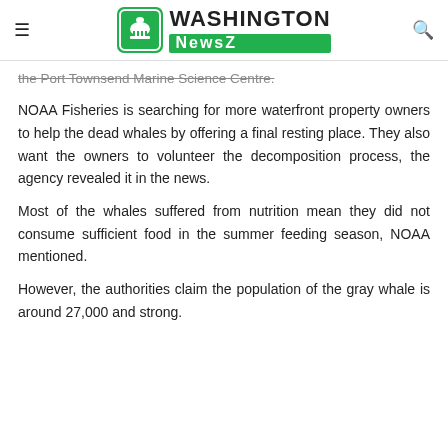Washington NewsZ
the Port Townsend Marine Science Centre.
NOAA Fisheries is searching for more waterfront property owners to help the dead whales by offering a final resting place. They also want the owners to volunteer the decomposition process, the agency revealed it in the news.
Most of the whales suffered from nutrition mean they did not consume sufficient food in the summer feeding season, NOAA mentioned.
However, the authorities claim the population of the gray whale is around 27,000 and strong.